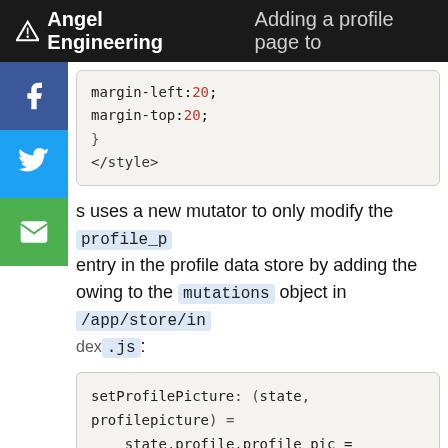Angel Engineering — Adding a profile page to
[Figure (screenshot): Code snippet showing CSS margin-left: 20; margin-top: 20; and closing brace and </style> tag]
s uses a new mutator to only modify the profile_p entry in the profile data store by adding the owing to the mutations object in /app/store/in dex.js:
[Figure (screenshot): Code snippet: setProfilePicture: (state, profilepicture) => state.profile.profile_pic = profilepicture },]
Now you should be able to tap on the profile picture to